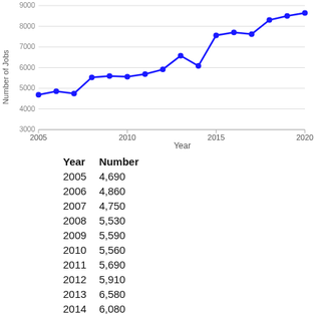[Figure (line-chart): ]
| Year | Number |
| --- | --- |
| 2005 | 4,690 |
| 2006 | 4,860 |
| 2007 | 4,750 |
| 2008 | 5,530 |
| 2009 | 5,590 |
| 2010 | 5,560 |
| 2011 | 5,690 |
| 2012 | 5,910 |
| 2013 | 6,580 |
| 2014 | 6,080 |